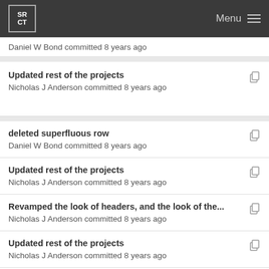SRCT Menu
Daniel W Bond committed 8 years ago
Updated rest of the projects
Nicholas J Anderson committed 8 years ago
deleted superfluous row
Daniel W Bond committed 8 years ago
Updated rest of the projects
Nicholas J Anderson committed 8 years ago
Revamped the look of headers, and the look of the...
Nicholas J Anderson committed 8 years ago
Updated rest of the projects
Nicholas J Anderson committed 8 years ago